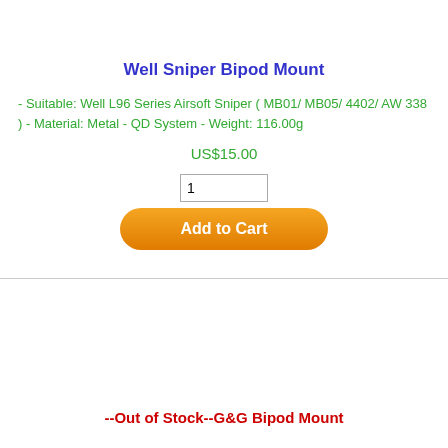Well Sniper Bipod Mount
- Suitable: Well L96 Series Airsoft Sniper ( MB01/ MB05/ 4402/ AW 338 ) - Material: Metal - QD System - Weight: 116.00g
US$15.00
--Out of Stock--G&G Bipod Mount